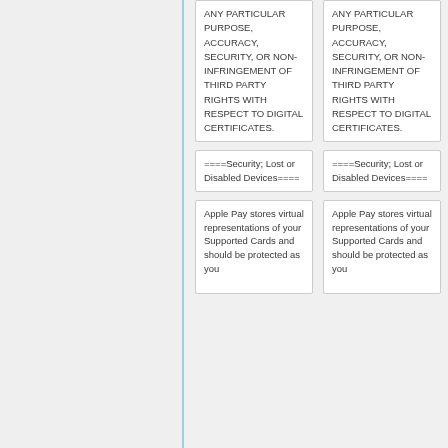ANY PARTICULAR PURPOSE, ACCURACY, SECURITY, OR NON-INFRINGEMENT OF THIRD PARTY RIGHTS WITH RESPECT TO DIGITAL CERTIFICATES.
ANY PARTICULAR PURPOSE, ACCURACY, SECURITY, OR NON-INFRINGEMENT OF THIRD PARTY RIGHTS WITH RESPECT TO DIGITAL CERTIFICATES.
====Security; Lost or Disabled Devices====
====Security; Lost or Disabled Devices====
Apple Pay stores virtual representations of your Supported Cards and should be protected as you
Apple Pay stores virtual representations of your Supported Cards and should be protected as you